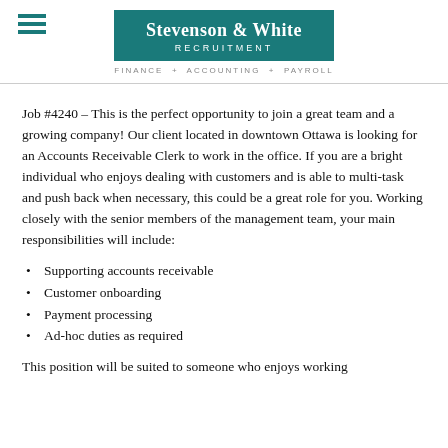[Figure (logo): Stevenson & White Recruitment logo - teal background with white text, tagline: FINANCE + ACCOUNTING + PAYROLL]
Job #4240 – This is the perfect opportunity to join a great team and a growing company! Our client located in downtown Ottawa is looking for an Accounts Receivable Clerk to work in the office. If you are a bright individual who enjoys dealing with customers and is able to multi-task and push back when necessary, this could be a great role for you. Working closely with the senior members of the management team, your main responsibilities will include:
Supporting accounts receivable
Customer onboarding
Payment processing
Ad-hoc duties as required
This position will be suited to someone who enjoys working